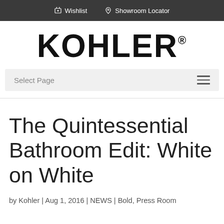Wishlist   Showroom Locator
[Figure (logo): KOHLER wordmark logo in bold black text with registered trademark symbol]
Select Page
The Quintessential Bathroom Edit: White on White
by Kohler | Aug 1, 2016 | NEWS | Bold, Press Room